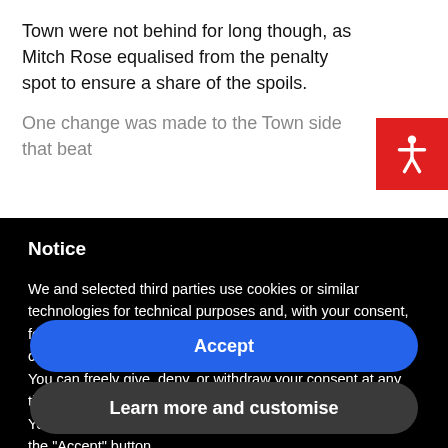Town were not behind for long though, as Mitch Rose equalised from the penalty spot to ensure a share of the spoils.
One change was made to the Town side that beat
Notice
We and selected third parties use cookies or similar technologies for technical purposes and, with your consent, for other purposes as specified in the cookie policy. Denying consent may make related features unavailable.
You can freely give, deny, or withdraw your consent at any time.
You can consent to the use of such technologies by using the “Accept” button.
Accept
Learn more and customise